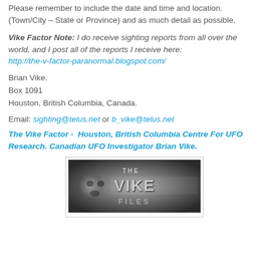Please remember to include the date and time and location. (Town/City – State or Province) and as much detail as possible.
Vike Factor Note: I do receive sighting reports from all over the world, and I post all of the reports I receive here: http://the-v-factor-paranormal.blogspot.com/
Brian Vike.
Box 1091
Houston, British Columbia, Canada.
Email: sighting@telus.net or b_vike@telus.net
The Vike Factor - Houston, British Columbia Centre For UFO Research. Canadian UFO Investigator Brian Vike.
[Figure (logo): The Vike Files banner image — grayscale banner with stylized text reading 'THE VIKE FILES' with a ghostly face in the background]